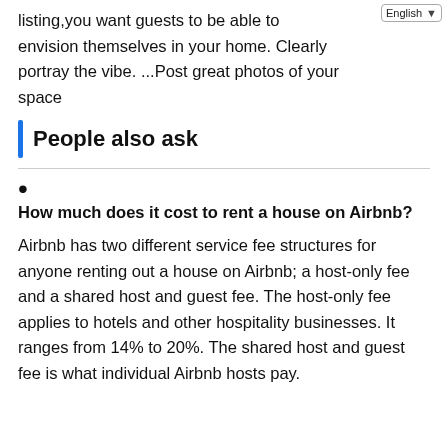listing,you want guests to be able to envision themselves in your home. Clearly portray the vibe. ...Post great photos of your space
People also ask
How much does it cost to rent a house on Airbnb?
Airbnb has two different service fee structures for anyone renting out a house on Airbnb; a host-only fee and a shared host and guest fee. The host-only fee applies to hotels and other hospitality businesses. It ranges from 14% to 20%. The shared host and guest fee is what individual Airbnb hosts pay.